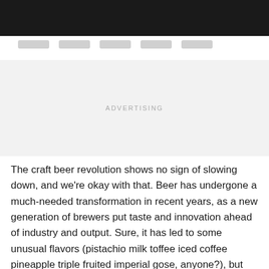[Figure (screenshot): Black top navigation bar]
[Figure (screenshot): Navigation pill buttons row with gray rounded rectangles]
ADVERTISING
The craft beer revolution shows no sign of slowing down, and we're okay with that. Beer has undergone a much-needed transformation in recent years, as a new generation of brewers put taste and innovation ahead of industry and output. Sure, it has led to some unusual flavors (pistachio milk toffee iced coffee pineapple triple fruited imperial gose, anyone?), but beer is serious business now. We're all for it.